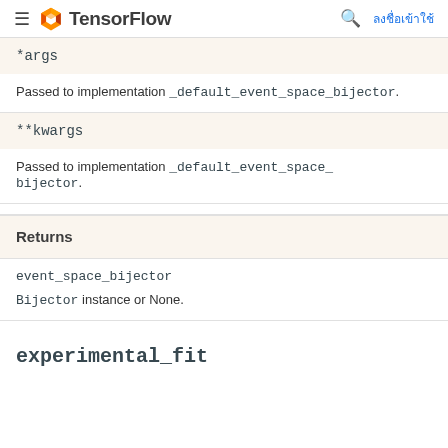TensorFlow
| Parameter | Description |
| --- | --- |
| *args | Passed to implementation _default_event_space_bijector. |
| **kwargs | Passed to implementation _default_event_space_bijector. |
| Returns |  |
| --- | --- |
| event_space_bijector | Bijector instance or None. |
experimental_fit